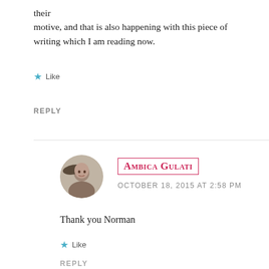their
motive, and that is also happening with this piece of writing which I am reading now.
★ Like
REPLY
[Figure (photo): Circular avatar photo of Ambica Gulati, a person wearing a hat]
AMBICA GULATI
OCTOBER 18, 2015 AT 2:58 PM
Thank you Norman
★ Like
REPLY